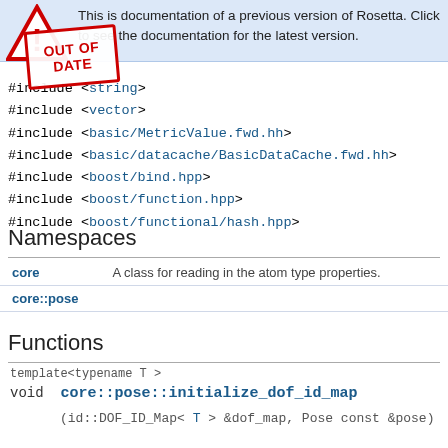This is documentation of a previous version of Rosetta. Click to see the documentation for the latest version.
#include <string>
#include <vector>
#include <basic/MetricValue.fwd.hh>
#include <basic/datacache/BasicDataCache.fwd.hh>
#include <boost/bind.hpp>
#include <boost/function.hpp>
#include <boost/functional/hash.hpp>
Namespaces
| Name | Description |
| --- | --- |
| core | A class for reading in the atom type properties. |
| core::pose |  |
Functions
template<typename T >
void   core::pose::initialize_dof_id_map
(id::DOF_ID_Map< T > &dof_map, Pose const &pose)